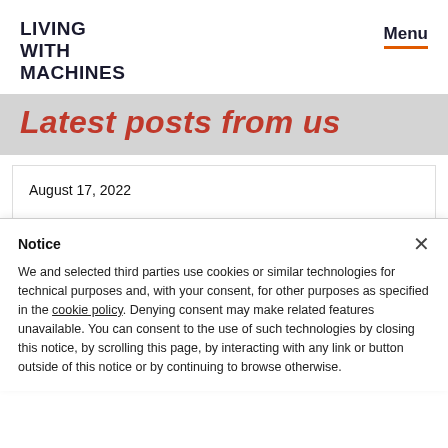LIVING WITH MACHINES | Menu
Latest posts from us
August 17, 2022
These are a few of my favourite things... in the Living with Machines exhibition.
The Living with Machines exhibition, curated by Co-Investigator Mia Ridge (Digital Curator at the British...
Notice
We and selected third parties use cookies or similar technologies for technical purposes and, with your consent, for other purposes as specified in the cookie policy. Denying consent may make related features unavailable. You can consent to the use of such technologies by closing this notice, by scrolling this page, by interacting with any link or button outside of this notice or by continuing to browse otherwise.